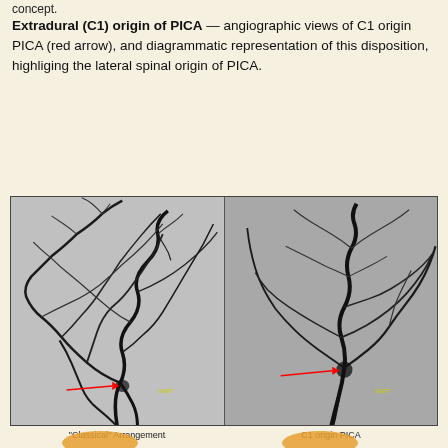concept.
Extradural (C1) origin of PICA — angiographic views of C1 origin PICA (red arrow), and diagrammatic representation of this disposition, highliging the lateral spinal origin of PICA.
[Figure (photo): Two side-by-side cerebral angiography images showing blood vessel anatomy. Each image shows dark vessel patterns on a gray background. Red arrows point to C1 origin PICA locations in both images. Yellow text labels appear in bottom-right corners of each sub-image.]
"Classical" Arrangement
C1 origin PICA